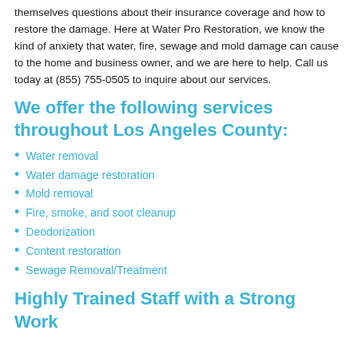themselves questions about their insurance coverage and how to restore the damage. Here at Water Pro Restoration, we know the kind of anxiety that water, fire, sewage and mold damage can cause to the home and business owner, and we are here to help. Call us today at (855) 755-0505 to inquire about our services.
We offer the following services throughout Los Angeles County:
Water removal
Water damage restoration
Mold removal
Fire, smoke, and soot cleanup
Deodorization
Content restoration
Sewage Removal/Treatment
Highly Trained Staff with a Strong Work